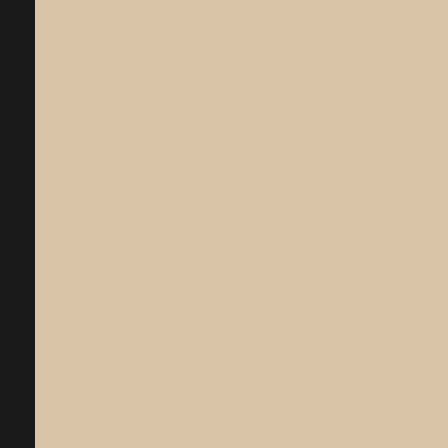This is what you deserve, you sad ex... you smelling the fuck on my panties... You're a loser, Henry. And you'll sta... while I fuck this stud.
Oh my! I think we have our answers... Henry to his moment of bliss.
Angela St. Lawrence on 18 Aug 2009 | di... &pussy whipped &XXX | Comments (1)
Don't Think. Jus...
Why he is here, he couldn't tell you. b... business trip, an unfamiliar town, a re...
The bar is nice, the music not too lou... his scotch, listening to the three wom... animated faces in the mirror behind v... the brunette, has met his reflected ga... less than three times, which isn't a su... even turned to smile at him, which he...
He orders his second drink just as th...